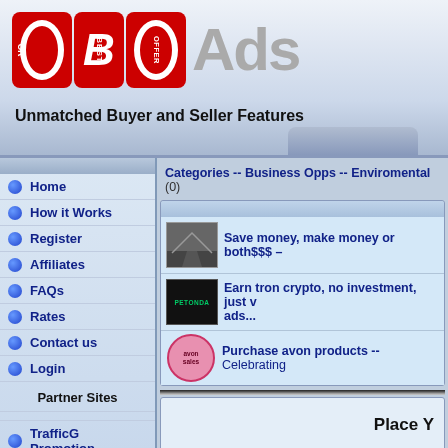[Figure (logo): OBOAds logo with red O, B, O letters and grey Ads text]
Unmatched Buyer and Seller Features
Categories -- Business Opps -- Enviromental (0)
Home
How it Works
Register
Affiliates
FAQs
Rates
Contact us
Login
Partner Sites
TrafficG Promotion
Web Hosting
Free Rotator
All4Webs
Save money, make money or both$$$ -
Earn tron crypto, no investment, just v ads...
Purchase avon products -- Celebrating
Place Y